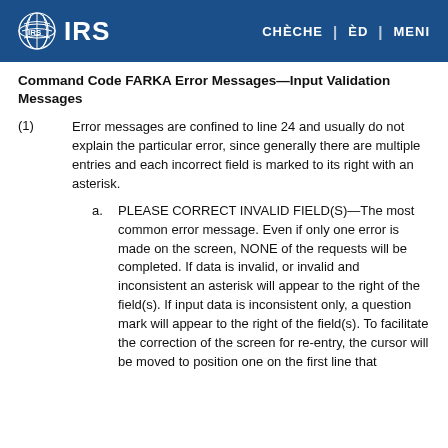IRS | CHÈCHE | ÈD | MENI
Command Code FARKA Error Messages—Input Validation Messages
(1) Error messages are confined to line 24 and usually do not explain the particular error, since generally there are multiple entries and each incorrect field is marked to its right with an asterisk.
a. PLEASE CORRECT INVALID FIELD(S)—The most common error message. Even if only one error is made on the screen, NONE of the requests will be completed. If data is invalid, or invalid and inconsistent an asterisk will appear to the right of the field(s). If input data is inconsistent only, a question mark will appear to the right of the field(s). To facilitate the correction of the screen for re-entry, the cursor will be moved to position one on the first line that